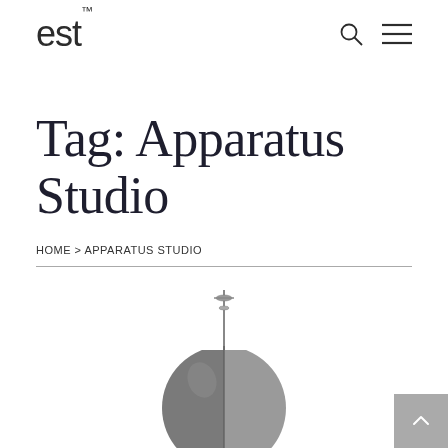est™
Tag: Apparatus Studio
HOME > APPARATUS STUDIO
[Figure (photo): A metallic spherical pendant light fixture with a thin vertical rod and small disc detail at the top, photographed on a white background. The sphere has a brushed steel finish with a subtle seam/split visible.]